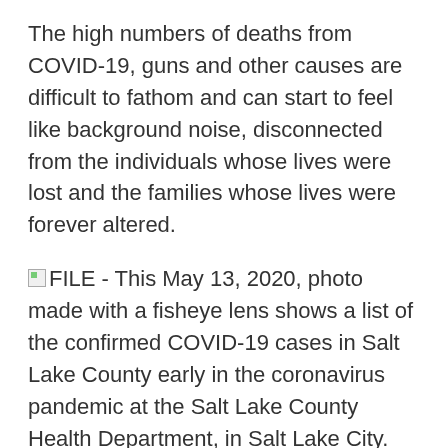The high numbers of deaths from COVID-19, guns and other causes are difficult to fathom and can start to feel like background noise, disconnected from the individuals whose lives were lost and the families whose lives were forever altered.
FILE - This May 13, 2020, photo made with a fisheye lens shows a list of the confirmed COVID-19 cases in Salt Lake County early in the coronavirus pandemic at the Salt Lake County Health Department, in Salt Lake City. FILE - This May 13, 2020, photo made